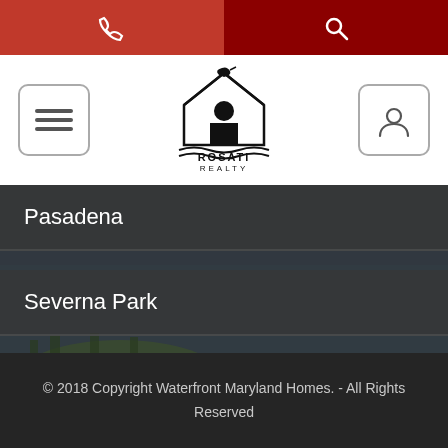Phone | Search navigation bar
[Figure (logo): Rosati Realty logo - house/marlin silhouette with text ROSATI REALTY]
Pasadena
Severna Park
Sparrows Point
West Ocean City
[Figure (photo): Aerial view of waterfront Maryland landscape with islands and water]
© 2018 Copyright Waterfront Maryland Homes. - All Rights Reserved